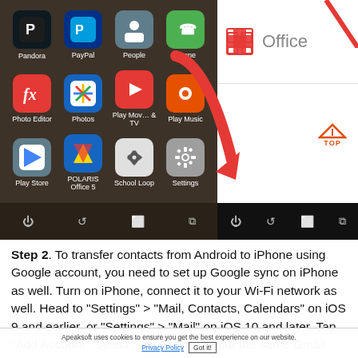[Figure (screenshot): Two Android phone screenshots side by side. Left screenshot shows app grid with icons: Pandora, PayPal, People, Phone, Photo Editor, Photos, Play Movies & TV, Play Music, Play Store, POLARIS Office 5, School Loop, Settings. A large red arrow points to the Settings icon. Right screenshot shows the Office app icon and name. Both phones show navigation bars at the bottom. A red arrow overlay spans both screenshots pointing downward to Settings.]
Step 2. To transfer contacts from Android to iPhone using Google account, you need to set up Google sync on iPhone as well. Turn on iPhone, connect it to your Wi-Fi network as well. Head to "Settings" > "Mail, Contacts, Calendars" on iOS 9 and earlier, or "Settings" > "Mail" on iOS 10 and later. Tap "Add Account", select "Google" and input the same Gmail credentials.
Apeaksoft uses cookies to ensure you get the best experience on our website.
Privacy Policy   Got it!